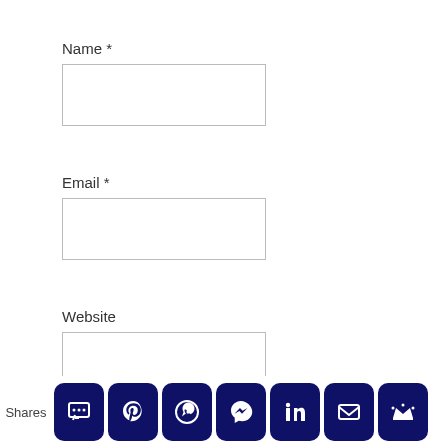Name *
[Figure (screenshot): Empty text input field for Name]
Email *
[Figure (screenshot): Empty text input field for Email]
Website
[Figure (screenshot): Empty text input field for Website]
Post comment
[Figure (infographic): Social share bar with icons: SMS, Pinterest, WhatsApp, Messenger, LinkedIn, Email, Crown/other]